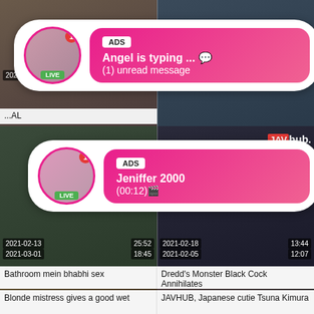[Figure (screenshot): Video thumbnail grid with ad overlays showing adult content website. Top row shows two video thumbnails with dates 2021-03 (13:07) and a partial title 'Newhalfo...' and '...AL'. Middle section shows two ad overlays with profile pictures and LIVE badges. Bottom shows two more video thumbnails dated 2021-02-13 (25:52) 'Bathroom mein bhabhi sex' and 2021-02-18 (13:44) 'Dredd's Monster Black Cock Annihilates'. Very bottom row shows 2021-03-01 (18:45) 'Blonde mistress gives a good wet' and 2021-02-05 (12:07) 'JAVHUB, Japanese cutie Tsuna Kimura'.]
ADS
Angel is typing ... 💬
(1) unread message
ADS
Jeniffer 2000
(00:12)🎬
Bathroom mein bhabhi sex
Dredd's Monster Black Cock Annihilates
Blonde mistress gives a good wet
JAVHUB, Japanese cutie Tsuna Kimura